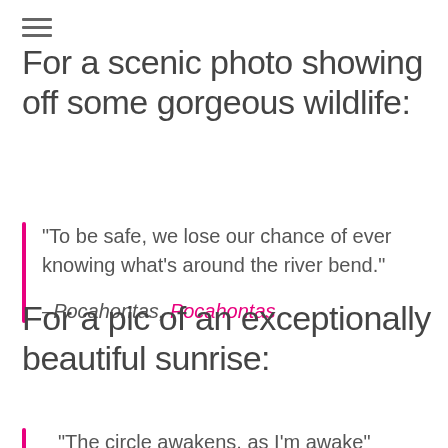For a scenic photo showing off some gorgeous wildlife:
"To be safe, we lose our chance of ever knowing what's around the river bend."
–Pocahontas, Pocahontas
For a pic of an exceptionally beautiful sunrise:
"The circle awakens, as I'm awake"